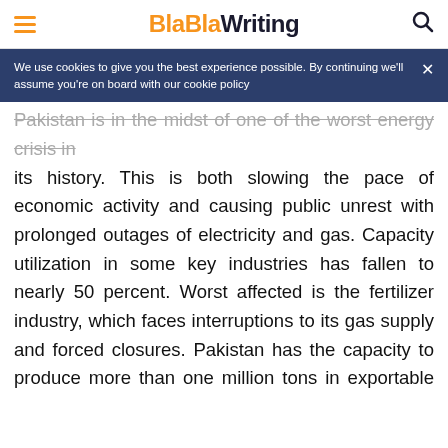BlaBlaWriting
We use cookies to give you the best experience possible. By continuing we'll assume you're on board with our cookie policy
Pakistan is in the midst of one of the worst energy crises in its history. This is both slowing the pace of economic activity and causing public unrest with prolonged outages of electricity and gas. Capacity utilization in some key industries has fallen to nearly 50 percent. Worst affected is the fertilizer industry, which faces interruptions to its gas supply and forced closures. Pakistan has the capacity to produce more than one million tons in exportable surplus urea, yet in 2011-12 it imported more than 1.1 million tons. This eroded the country's foreign exchange reserves and effectively entailed the payment of millions of dollars in subsidies, being the difference between the cost of locally produced and imported urea. Pakistan urgently needs to make some strategic decisions and change the national